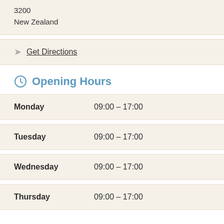3200
New Zealand
Get Directions
Opening Hours
| Day | Hours |
| --- | --- |
| Monday | 09:00 – 17:00 |
| Tuesday | 09:00 – 17:00 |
| Wednesday | 09:00 – 17:00 |
| Thursday | 09:00 – 17:00 |